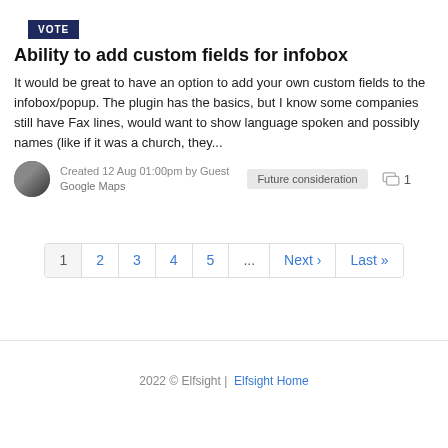Ability to add custom fields for infobox
It would be great to have an option to add your own custom fields to the infobox/popup. The plugin has the basics, but I know some companies still have Fax lines, would want to show language spoken and possibly names (like if it was a church, they...
Created 12 Aug 01:00pm by Guest
Google Maps
Future consideration
1
1
2
3
4
5
...
Next ›
Last »
2022 © Elfsight |  Elfsight Home